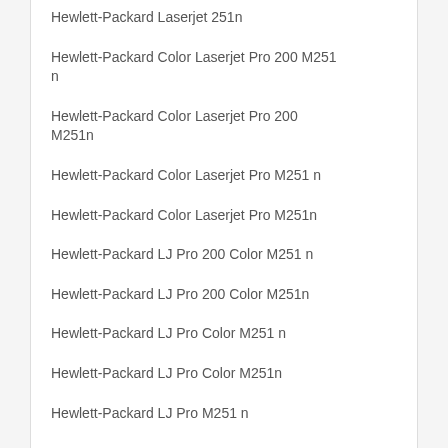Hewlett-Packard Laserjet 251n
Hewlett-Packard Color Laserjet Pro 200 M251 n
Hewlett-Packard Color Laserjet Pro 200 M251n
Hewlett-Packard Color Laserjet Pro M251 n
Hewlett-Packard Color Laserjet Pro M251n
Hewlett-Packard LJ Pro 200 Color M251 n
Hewlett-Packard LJ Pro 200 Color M251n
Hewlett-Packard LJ Pro Color M251 n
Hewlett-Packard LJ Pro Color M251n
Hewlett-Packard LJ Pro M251 n